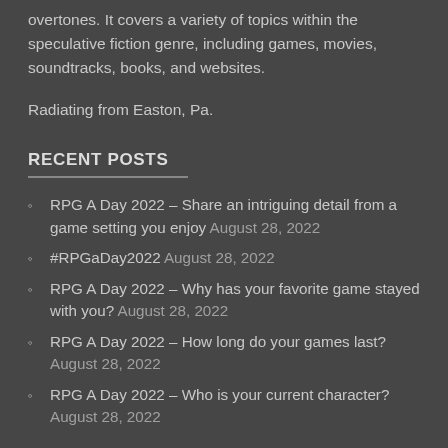overtones. It covers a variety of topics within the speculative fiction genre, including games, movies, soundtracks, books, and websites.
Radiating from Easton, Pa.
RECENT POSTS
RPG A Day 2022 – Share an intriguing detail from a game setting you enjoy August 28, 2022
#RPGaDay2022 August 28, 2022
RPG A Day 2022 – Why has your favorite game stayed with you? August 28, 2022
RPG A Day 2022 – How long do your games last? August 28, 2022
RPG A Day 2022 – Who is your current character? August 28, 2022